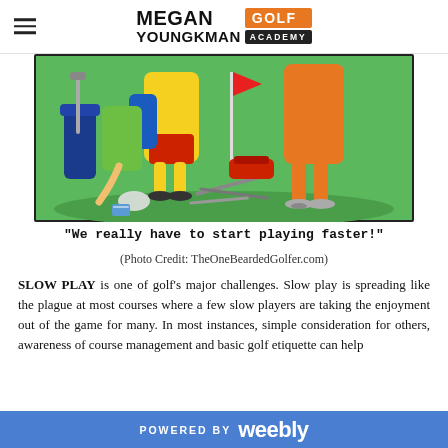Megan Youngkman Golf Academy
[Figure (illustration): Cartoon illustration of golfers and golf equipment, depicting slow play on a golf course. Colorful cartoon style showing golfers in bright clothes (yellow, orange, blue) with golf bags and clubs scattered around.]
"We really have to start playing faster!"
(Photo Credit: TheOneBeardedGolfer.com)
SLOW PLAY is one of golf's major challenges. Slow play is spreading like the plague at most courses where a few slow players are taking the enjoyment out of the game for many. In most instances, simple consideration for others, awareness of course management and basic golf etiquette can help
POWERED BY weebly